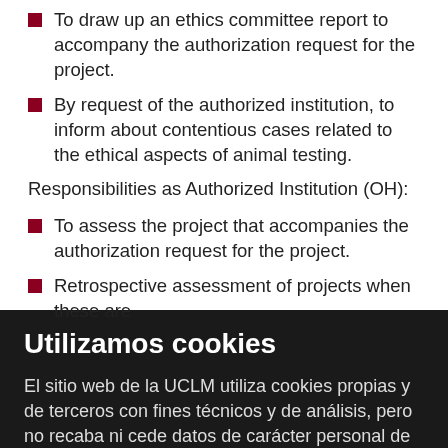To draw up an ethics committee report to accompany the authorization request for the project.
By request of the authorized institution, to inform about contentious cases related to the ethical aspects of animal testing.
Responsibilities as Authorized Institution (OH):
To assess the project that accompanies the authorization request for the project.
Retrospective assessment of projects when these are
Utilizamos cookies
El sitio web de la UCLM utiliza cookies propias y de terceros con fines técnicos y de análisis, pero no recaba ni cede datos de carácter personal de los usuarios. Sin embargo, puede haber enlaces a sitios web de terceros, con políticas de cookies distintas a la